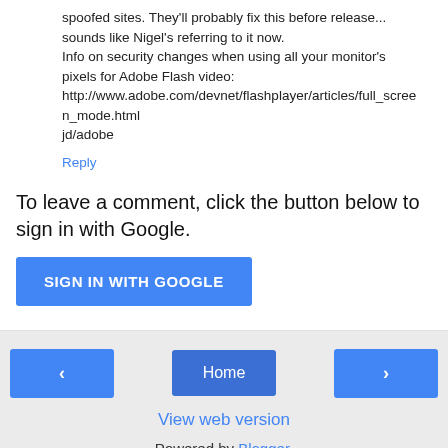spoofed sites. They'll probably fix this before release... sounds like Nigel's referring to it now.
Info on security changes when using all your monitor's pixels for Adobe Flash video:
http://www.adobe.com/devnet/flashplayer/articles/full_screen_mode.html
jd/adobe
Reply
To leave a comment, click the button below to sign in with Google.
[Figure (other): SIGN IN WITH GOOGLE button (blue)]
[Figure (other): Navigation buttons: left arrow, Home, right arrow]
View web version
Powered by Blogger.